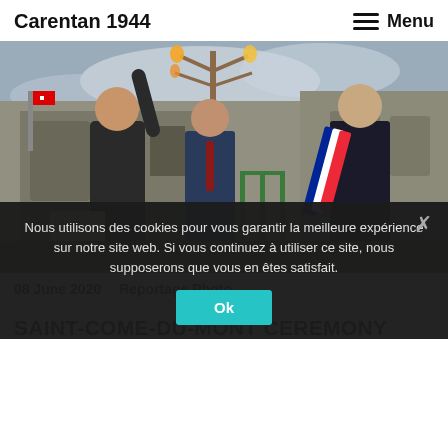Carentan 1944
[Figure (photo): Outdoor ceremony photo showing three men near a decorative lamp post or monument, in front of a stone building. One man in a black t-shirt reaches upward, another in a suit stands in the middle, and a third man in a suit with a French tricolor sash stands to the right.]
08 June 2020    Reportage Photo
SAINT-COME-DU-MONT CEREMONY
Nous utilisons des cookies pour vous garantir la meilleure expérience sur notre site web. Si vous continuez à utiliser ce site, nous supposerons que vous en êtes satisfait.